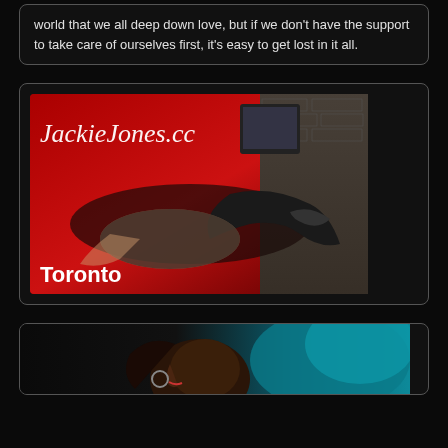world that we all deep down love, but if we don't have the support to take care of ourselves first, it's easy to get lost in it all.
[Figure (photo): Advertisement image for JackieJones.cc showing a woman in black lingerie and thigh-high boots on a red surface, with text overlay reading 'JackieJones.cc' at top and 'Toronto' at bottom left]
[Figure (photo): Partial image showing a woman's profile/face with blue hair and hoop earring against a dark background]